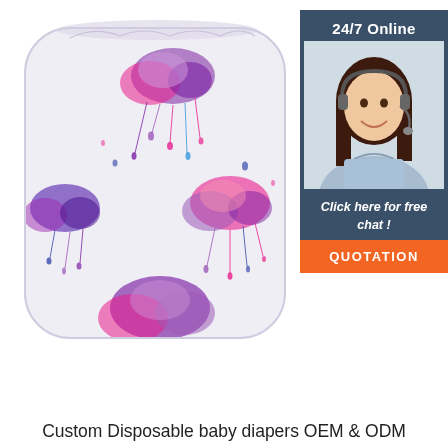[Figure (photo): A cloth diaper with colorful watercolor rain cloud and raindrop pattern in purple, pink, blue and magenta on white fabric, rounded square shape with gathered elastic edges.]
[Figure (infographic): Dark teal sidebar panel showing '24/7 Online' heading, a photo of a smiling woman with headset (customer service agent), text 'Click here for free chat!' and an orange 'QUOTATION' button.]
Custom Disposable baby diapers OEM & ODM